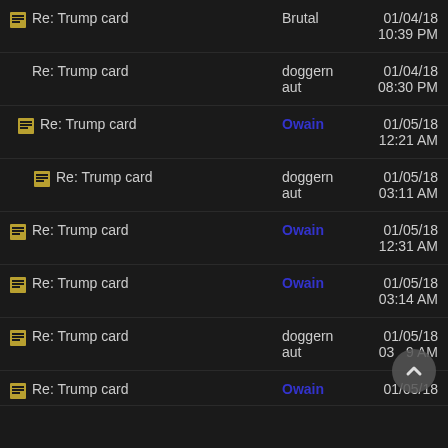Re: Trump card | Brutal | 01/04/18 10:39 PM
Re: Trump card | doggernaut | 01/04/18 08:30 PM
Re: Trump card | Owain | 01/05/18 12:21 AM
Re: Trump card | doggernaut | 01/05/18 03:11 AM
Re: Trump card | Owain | 01/05/18 12:31 AM
Re: Trump card | Owain | 01/05/18 03:14 AM
Re: Trump card | doggernaut | 01/05/18 03:29 AM
Re: Trump card | Owain | 01/05/18